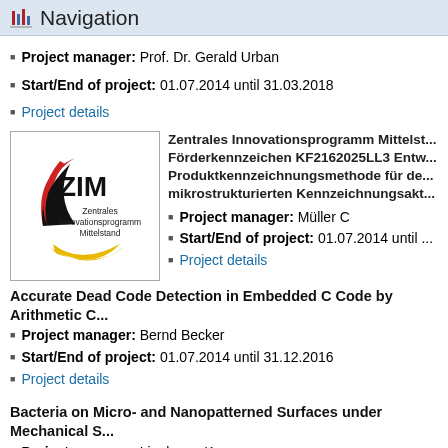Navigation
Project manager: Prof. Dr. Gerald Urban
Start/End of project: 01.07.2014 until 31.03.2018
Project details
[Figure (logo): ZIM - Zentrales Innovationsprogramm Mittelstand logo with red and yellow swoosh]
Zentrales Innovationsprogramm Mittelst... Förderkennzeichen KF2162025LL3 Entw... Produktkennzeichnungsmethode für de... mikrostrukturierten Kennzeichnungsakt...
Project manager: Müller C
Start/End of project: 01.07.2014 until ...
Project details
Accurate Dead Code Detection in Embedded C Code by Arithmetic C...
Project manager: Bernd Becker
Start/End of project: 01.07.2014 until 31.12.2016
Project details
Bacteria on Micro- and Nanopatterned Surfaces under Mechanical S...
Project manager: Lienkamp K
Start/End of project: 01.07.2014 until 31.12.2014
Project details